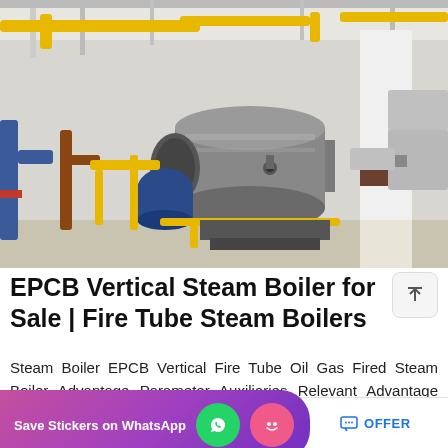[Figure (photo): Industrial boiler room with large cylindrical fire tube steam boilers, yellow gas pipes, white structural columns, and insulated pipe systems in a factory setting.]
EPCB Vertical Steam Boiler for Sale | Fire Tube Steam Boilers
Steam Boiler EPCB Vertical Fire Tube Oil Gas Fired Steam Boiler Advantage Parameter Auxiliaries Relevant Advantage Compared with the oe boiler, the fire tube structur…
[Figure (screenshot): Save Stickers on WhatsApp promotional popup overlay with phone and emoji icons]
MAIL   ADVISORY   OFFER